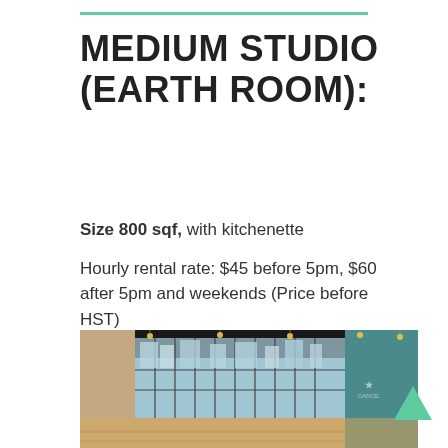MEDIUM STUDIO (EARTH ROOM):
Size 800 sqf, with kitchenette
Hourly rental rate: $45 before 5pm, $60 after 5pm and weekends (Price before HST)
[Figure (photo): Interior photo of a large open studio space with floor-to-ceiling glass windows overlooking a city skyline. The space has a dark industrial ceiling with pendant lights, light hardwood floors, and a logo/sign on the right wall.]